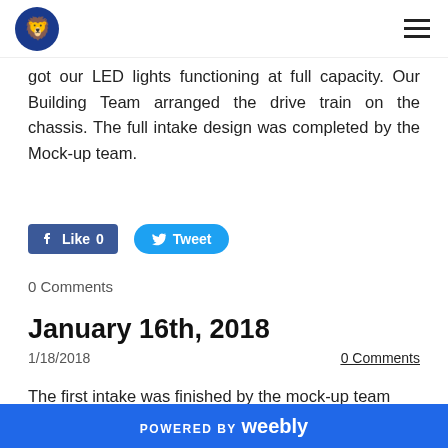[Logo] [Hamburger menu]
got our LED lights functioning at full capacity. Our Building Team arranged the drive train on the chassis. The full intake design was completed by the Mock-up team.
[Figure (other): Facebook Like button (Like 0) and Twitter Tweet button]
0 Comments
January 16th, 2018
1/18/2018
0 Comments
The first intake was finished by the mock-up team and
POWERED BY weebly